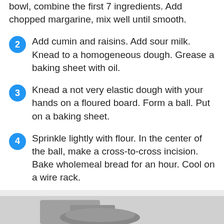bowl, combine the first 7 ingredients. Add chopped margarine, mix well until smooth.
2  Add cumin and raisins. Add sour milk. Knead to a homogeneous dough. Grease a baking sheet with oil.
3  Knead a not very elastic dough with your hands on a floured board. Form a ball. Put on a baking sheet.
4  Sprinkle lightly with flour. In the center of the ball, make a cross-to-cross incision. Bake wholemeal bread for an hour. Cool on a wire rack.
Also Like
[Figure (photo): Photo of bread at bottom of page]